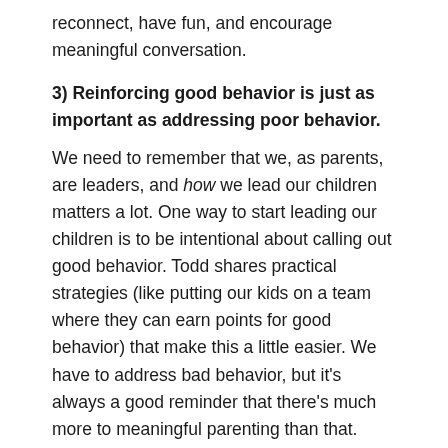reconnect, have fun, and encourage meaningful conversation.
3) Reinforcing good behavior is just as important as addressing poor behavior.
We need to remember that we, as parents, are leaders, and how we lead our children matters a lot. One way to start leading our children is to be intentional about calling out good behavior. Todd shares practical strategies (like putting our kids on a team where they can earn points for good behavior) that make this a little easier. We have to address bad behavior, but it's always a good reminder that there's much more to meaningful parenting than that.
About Todd: